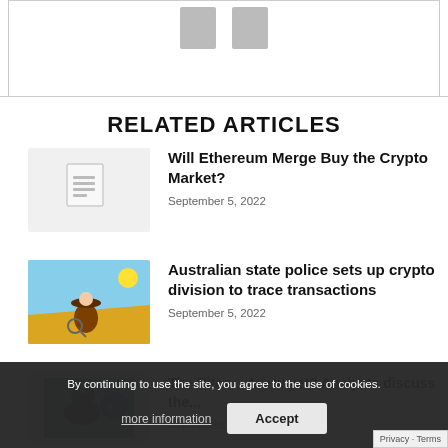[Figure (illustration): Top strip with two gray placeholder icons on white background]
RELATED ARTICLES
Will Ethereum Merge Buy the Crypto Market?
September 5, 2022
Australian state police sets up crypto division to trace transactions
September 5, 2022
The Bitcoin... Are w yet? Analysts discuss the...
September 3, 2022
By continuing to use the site, you agree to the use of cookies. more information  Accept
Privacy · Terms